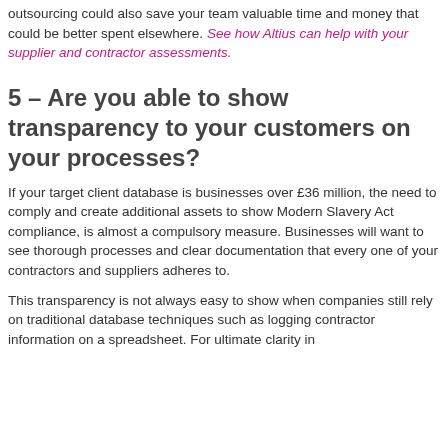outsourcing could also save your team valuable time and money that could be better spent elsewhere. See how Altius can help with your supplier and contractor assessments.
5 – Are you able to show transparency to your customers on your processes?
If your target client database is businesses over £36 million, the need to comply and create additional assets to show Modern Slavery Act compliance, is almost a compulsory measure. Businesses will want to see thorough processes and clear documentation that every one of your contractors and suppliers adheres to.
This transparency is not always easy to show when companies still rely on traditional database techniques such as logging contractor information on a spreadsheet. For ultimate clarity in